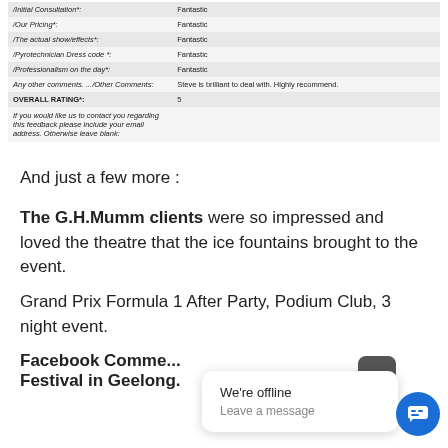| Field | Response |
| --- | --- |
| /Initial Consultation*: | Fantastic |
| /Our Pricing*: | Fantastic |
| /The actual show/effects*: | Fantastic |
| /Pyrotechnician Dress code *: | Fantastic |
| /Professionalism on the day*: | Fantastic |
| Any other comments. .../Other Comments: | Steve is brilliant to deal with. Highly recommend. |
| OVERALL RATING*: | 5 |
| If you would like us to contact you regarding this feedback please include your email address. Otherwise leave blank: |  |
And just a few more :
The G.H.Mumm clients were so impressed and loved the theatre that the ice fountains brought to the event.
Grand Prix Formula 1 After Party, Podium Club, 3 night event.
Facebook Comments
Festival in Geelong.